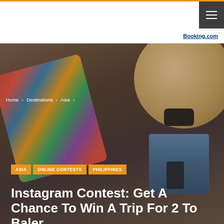Navigation bar with hamburger menu
Booking.com
[Figure (photo): Hero image showing travel items on a dark wood surface: colorful paisley fabric/scarf, straw hat, sunglasses, denim shorts, phone, and earrings]
Home > Destinations > Asia >
ASIA   ONLINE CONTESTS   PHILIPPINES
Instagram Contest: Get A Chance To Win A Trip For 2 To Baler
By Mela Villarreal   On Sep 8, 2015